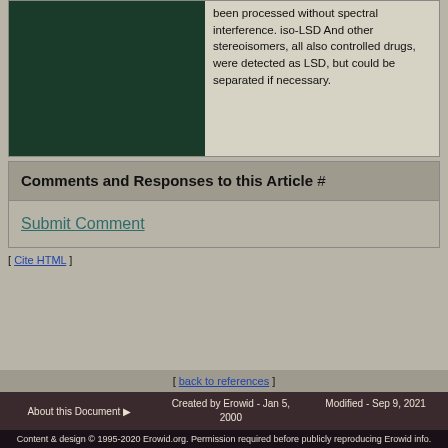[Figure (photo): Dark green/black rectangular image area, partially visible at top-left of the content section]
been processed without spectral interference. iso-LSD And other stereoisomers, all also controlled drugs, were detected as LSD, but could be separated if necessary.
Comments and Responses to this Article #
Submit Comment
[ Cite HTML ]
[ back to references ]
About this Document ▶ | Created by Erowid - Jan 5, 2000 | Modified - Sep 9, 2021
Content & design © 1995-2020 Erowid.org. Permission required before publicly reproducing Erowid info.